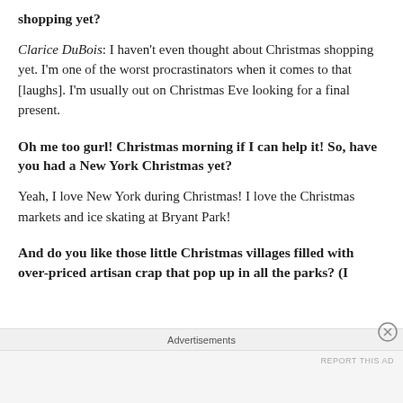shopping yet?
Clarice DuBois: I haven't even thought about Christmas shopping yet. I'm one of the worst procrastinators when it comes to that [laughs]. I'm usually out on Christmas Eve looking for a final present.
Oh me too gurl! Christmas morning if I can help it! So, have you had a New York Christmas yet?
Yeah, I love New York during Christmas! I love the Christmas markets and ice skating at Bryant Park!
And do you like those little Christmas villages filled with over-priced artisan crap that pop up in all the parks? (I
Advertisements